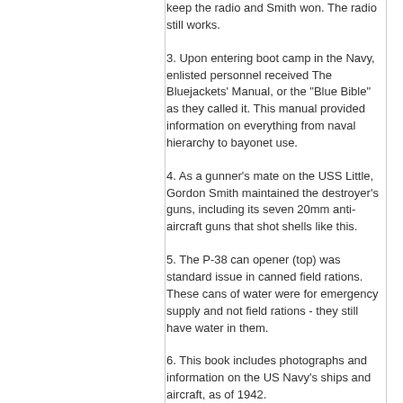keep the radio and Smith won. The radio still works.
3. Upon entering boot camp in the Navy, enlisted personnel received The Bluejackets' Manual, or the “Blue Bible” as they called it. This manual provided information on everything from naval hierarchy to bayonet use.
4. As a gunner’s mate on the USS Little, Gordon Smith maintained the destroyer’s guns, including its seven 20mm anti-aircraft guns that shot shells like this.
5. The P-38 can opener (top) was standard issue in canned field rations. These cans of water were for emergency supply and not field rations - they still have water in them.
6. This book includes photographs and information on the US Navy’s ships and aircraft, as of 1942.
7. Model of an Iowa-class battleship. The USS Iowa was one of six battleships built just before the start of World War II to serve in the Pacific.